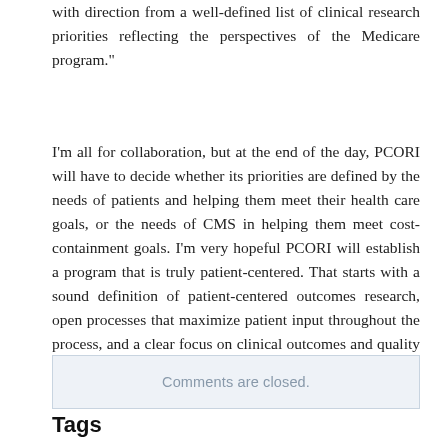with direction from a well-defined list of clinical research priorities reflecting the perspectives of the Medicare program."
I'm all for collaboration, but at the end of the day, PCORI will have to decide whether its priorities are defined by the needs of patients and helping them meet their health care goals, or the needs of CMS in helping them meet cost-containment goals. I'm very hopeful PCORI will establish a program that is truly patient-centered. That starts with a sound definition of patient-centered outcomes research, open processes that maximize patient input throughout the process, and a clear focus on clinical outcomes and quality improvement.
Comments are closed.
Tags